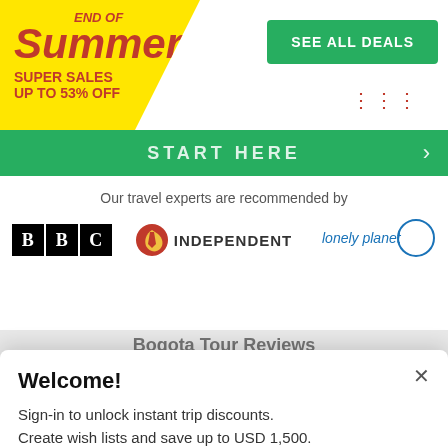[Figure (infographic): Yellow diagonal promotional badge with red italic text: END OF Summer SUPER SALES UP TO 53% OFF]
SEE ALL DEALS
⠿
START HERE
Our travel experts are recommended by
[Figure (logo): BBC logo (black boxes with white letters B B C)]
[Figure (logo): The Independent logo with eagle icon]
[Figure (logo): Lonely Planet logo in blue circle]
Bogota Tour Reviews
Welcome!
Sign-in to unlock instant trip discounts.
Create wish lists and save up to USD 1,500.
FACEBOOK
GOOGLE
More login options here.